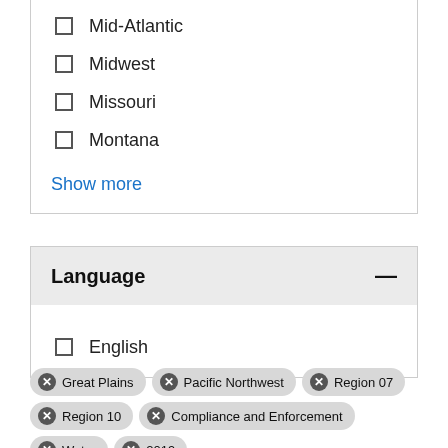Mid-Atlantic
Midwest
Missouri
Montana
Show more
Language
English
Great Plains
Pacific Northwest
Region 07
Region 10
Compliance and Enforcement
Water
2019
Remove all filters